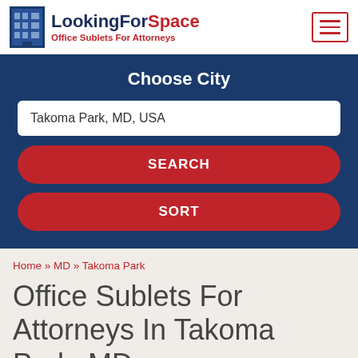LookingForSpace — Office Sublets For Attorneys
Choose City
Takoma Park, MD, USA
SEARCH
SORT
Home » MD » Takoma Park
Office Sublets For Attorneys In Takoma Park, MD